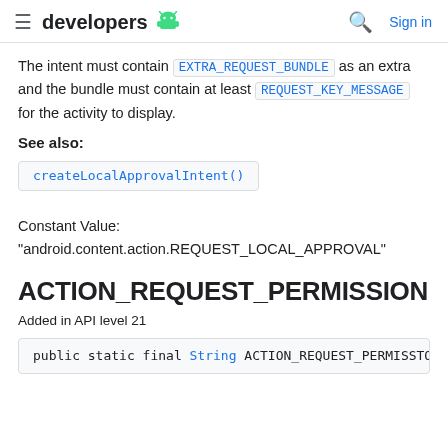developers [android logo] [search] Sign in
The intent must contain EXTRA_REQUEST_BUNDLE as an extra and the bundle must contain at least REQUEST_KEY_MESSAGE for the activity to display.
See also:
createLocalApprovalIntent()
Constant Value:
"android.content.action.REQUEST_LOCAL_APPROVAL"
ACTION_REQUEST_PERMISSION
Added in API level 21
public static final String ACTION_REQUEST_PERMISSION